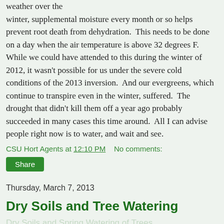weather over the winter, supplemental moisture every month or so helps prevent root death from dehydration.  This needs to be done on a day when the air temperature is above 32 degrees F.  While we could have attended to this during the winter of 2012, it wasn't possible for us under the severe cold conditions of the 2013 inversion.  And our evergreens, which continue to transpire even in the winter, suffered.  The drought that didn't kill them off a year ago probably succeeded in many cases this time around.  All I can advise people right now is to water, and wait and see.
CSU Hort Agents at 12:10 PM    No comments:
Share
Thursday, March 7, 2013
Dry Soils and Tree Watering
Dry Soils and Spring Watering of Trees
Posted by David Whiting, Dept. of Horticulture & LA, CSU March 7, 2013